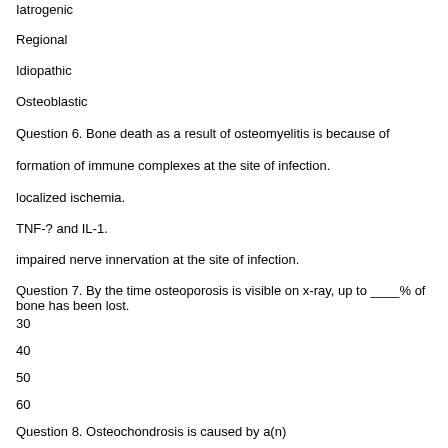Iatrogenic
Regional
Idiopathic
Osteoblastic
Question 6. Bone death as a result of osteomyelitis is because of
formation of immune complexes at the site of infection.
localized ischemia.
TNF-? and IL-1.
impaired nerve innervation at the site of infection.
Question 7. By the time osteoporosis is visible on x-ray, up to ____% of bone has been lost.
30
40
50
60
Question 8. Osteochondrosis is caused by a(n)
imbalance between calcitonin and parathyroid hormone.